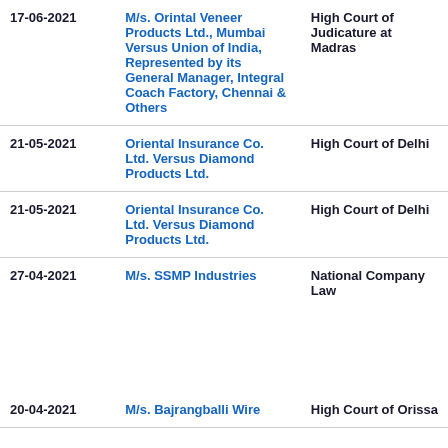| Date | Case | Court |
| --- | --- | --- |
| 17-06-2021 | M/s. Orintal Veneer Products Ltd., Mumbai Versus Union of India, Represented by its General Manager, Integral Coach Factory, Chennai & Others | High Court of Judicature at Madras |
| 21-05-2021 | Oriental Insurance Co. Ltd. Versus Diamond Products Ltd. | High Court of Delhi |
| 21-05-2021 | Oriental Insurance Co. Ltd. Versus Diamond Products Ltd. | High Court of Delhi |
| 27-04-2021 | M/s. SSMP Industries | National Company Law |
| 20-04-2021 | M/s. Bajrangballi Wire | High Court of Orissa |
[Figure (infographic): Navigation banner overlay with three white rounded buttons on a blue dashed-border background: Intro (home icon), Search (magnifier icon), Report (document icon)]